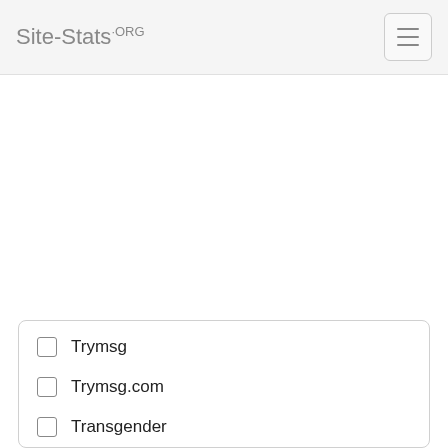Site-Stats.ORG
Trymsg
Trymsg.com
Transgender